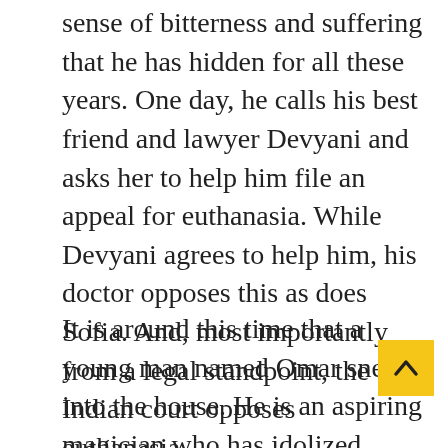sense of bitterness and suffering that he has hidden for all these years. One day, he calls his best friend and lawyer Devyani and asks her to help him file an appeal for euthanasia. While Devyani agrees to help him, his doctor opposes this as does Sofia. And, most importantly from a legal standpoint, the Indian court opposes euthanasia.
It is around this time that a young man named Omar sneaks into the house. He is an aspiring magician who has idolized Ethan (who went by the moniker “Merlin” since childhood and wants to learn his